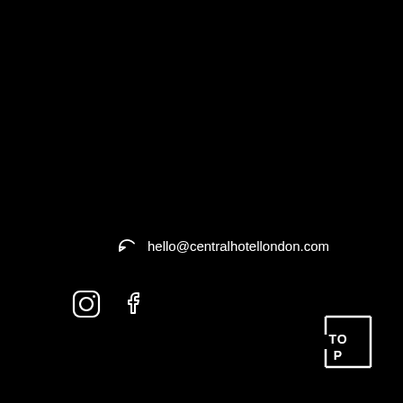hello@centralhotellondon.com
[Figure (logo): Instagram and Facebook social media icons in white on black background]
[Figure (logo): TOP logo in white outlined box, bottom-right corner]